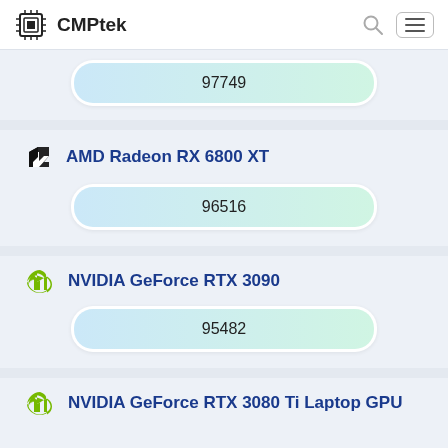CMPtek
97749
AMD Radeon RX 6800 XT
96516
NVIDIA GeForce RTX 3090
95482
NVIDIA GeForce RTX 3080 Ti Laptop GPU